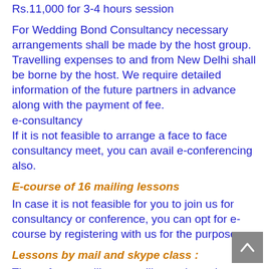Rs.11,000 for 3-4 hours session
For Wedding Bond Consultancy necessary arrangements shall be made by the host group. Travelling expenses to and from New Delhi shall be borne by the host. We require detailed information of the future partners in advance along with the payment of fee.
e-consultancy
If it is not feasible to arrange a face to face consultancy meet, you can avail e-conferencing also.
E-course of 16 mailing lessons
In case it is not feasible for you to join us for consultancy or conference, you can opt for e-course by registering with us for the purpose.
Lessons by mail and skype class :
Thereafter we will start mailing various chapters of this course as per frequency